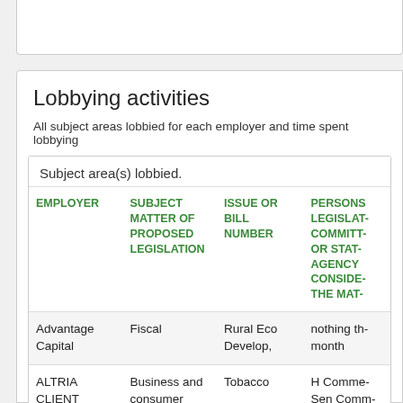Lobbying activities
All subject areas lobbied for each employer and time spent lobbying
| EMPLOYER | SUBJECT MATTER OF PROPOSED LEGISLATION | ISSUE OR BILL NUMBER | PERSONS LEGISLAT- COMMITTEE OR STATE AGENCY CONSIDE- THE MAT- |
| --- | --- | --- | --- |
| Advantage Capital | Fiscal | Rural Eco Develop, | nothing th- month |
| ALTRIA CLIENT SERVICES LLC | Business and consumer | Tobacco | H Comme- Sen Comm- |